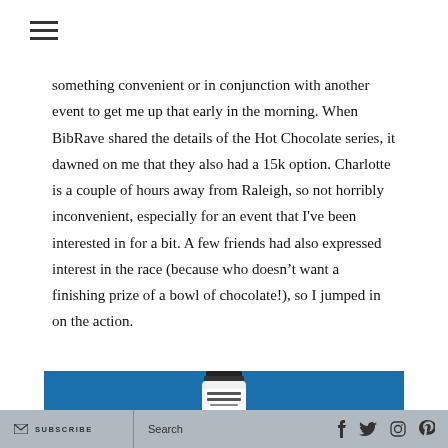Navigation menu icon
something convenient or in conjunction with another event to get me up that early in the morning. When BibRave shared the details of the Hot Chocolate series, it dawned on me that they also had a 15k option. Charlotte is a couple of hours away from Raleigh, so not horribly inconvenient, especially for an event that I've been interested in for a bit. A few friends had also expressed interest in the race (because who doesn't want a finishing prize of a bowl of chocolate!), so I jumped in on the action.
[Figure (photo): Blue background with partial view of a Hot Chocolate race bottle/container at the bottom]
SUBSCRIBE  Search  (social media icons: Facebook, Twitter, Instagram, Pinterest)